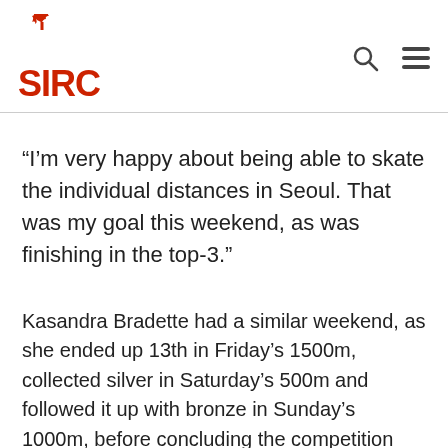SIRC
“I’m very happy about being able to skate the individual distances in Seoul. That was my goal this weekend, as was finishing in the top-3.”
Kasandra Bradette had a similar weekend, as she ended up 13th in Friday’s 1500m, collected silver in Saturday’s 500m and followed it up with bronze in Sunday’s 1000m, before concluding the competition with a fifth-place result in the 3000m.